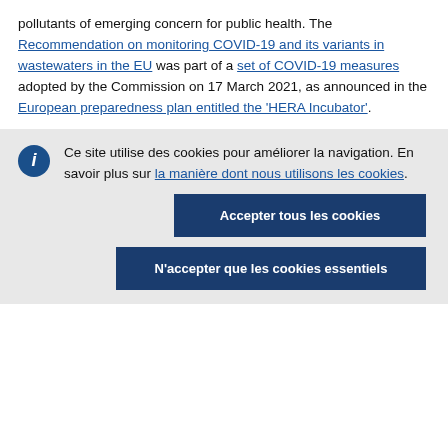pollutants of emerging concern for public health. The Recommendation on monitoring COVID-19 and its variants in wastewaters in the EU was part of a set of COVID-19 measures adopted by the Commission on 17 March 2021, as announced in the European preparedness plan entitled the 'HERA Incubator'.
Ce site utilise des cookies pour améliorer la navigation. En savoir plus sur la manière dont nous utilisons les cookies.
Accepter tous les cookies
N'accepter que les cookies essentiels